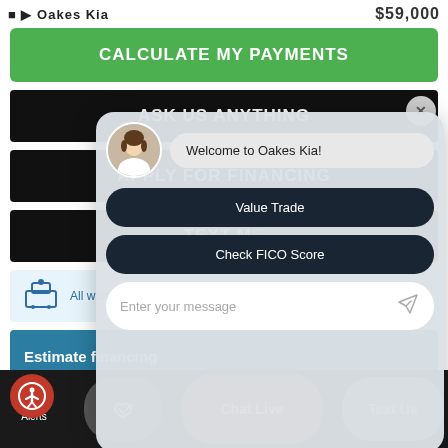Oakes Kia   $59,000
CALCULATE MY PAYMENTS
ASK US ANYTHING
APPLY FOR FINANCING
TEXT M...
All with o...
Estimate financing
TEXT MY TRADE-IN VALUE!
[Figure (screenshot): Chat overlay from Oakes Kia chatbot with welcome message 'Welcome to Oakes Kia!', options 'Value Trade' and 'Check FICO Score', and a message input field 'Enter your message'.]
Alerts | [handshake icon] | Chat Live | Text Us